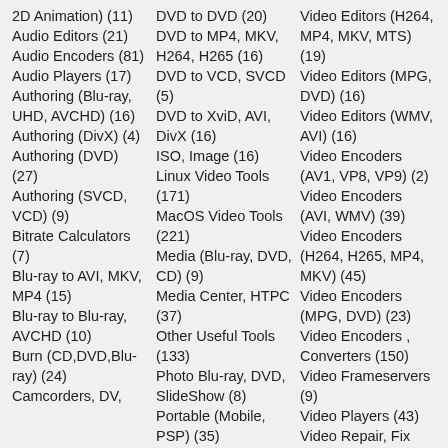2D Animation) (11)
Audio Editors (21)
Audio Encoders (81)
Audio Players (17)
Authoring (Blu-ray, UHD, AVCHD) (16)
Authoring (DivX) (4)
Authoring (DVD) (27)
Authoring (SVCD, VCD) (9)
Bitrate Calculators (7)
Blu-ray to AVI, MKV, MP4 (15)
Blu-ray to Blu-ray, AVCHD (10)
Burn (CD,DVD,Blu-ray) (24)
Camcorders, DV,
DVD to DVD (20)
DVD to MP4, MKV, H264, H265 (16)
DVD to VCD, SVCD (5)
DVD to XviD, AVI, DivX (16)
ISO, Image (16)
Linux Video Tools (171)
MacOS Video Tools (221)
Media (Blu-ray, DVD, CD) (9)
Media Center, HTPC (37)
Other Useful Tools (133)
Photo Blu-ray, DVD, SlideShow (8)
Portable (Mobile, PSP) (35)
Region Free Tools (5)
Video Editors (H264, MP4, MKV, MTS) (19)
Video Editors (MPG, DVD) (16)
Video Editors (WMV, AVI) (16)
Video Encoders (AV1, VP8, VP9) (2)
Video Encoders (AVI, WMV) (39)
Video Encoders (H264, H265, MP4, MKV) (45)
Video Encoders (MPG, DVD) (23)
Video Encoders , Converters (150)
Video Frameservers (9)
Video Players (43)
Video Repair, Fix (23)
Video Scripting (11)